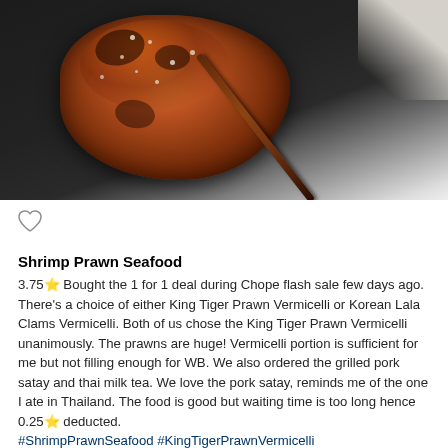[Figure (photo): Close-up photo of grilled pork satay on a skewer, glazed with dark sauce and sesame seeds, placed on a dark black plate/pan]
♡
Shrimp Prawn Seafood
3.75⭐ Bought the 1 for 1 deal during Chope flash sale few days ago. There's a choice of either King Tiger Prawn Vermicelli or Korean Lala Clams Vermicelli. Both of us chose the King Tiger Prawn Vermicelli unanimously. The prawns are huge! Vermicelli portion is sufficient for me but not filling enough for WB. We also ordered the grilled pork satay and thai milk tea. We love the pork satay, reminds me of the one I ate in Thailand. The food is good but waiting time is too long hence 0.25⭐ deducted. #ShrimpPrawnSeafood #KingTigerPrawnVermicelli